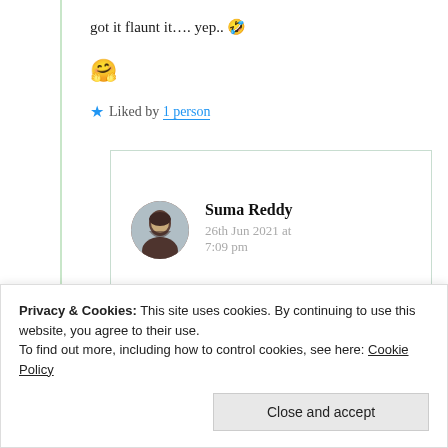got it flaunt it…. yep.. 🤣
🤗
★ Liked by 1 person
Suma Reddy
26th Jun 2021 at 7:09 pm
Privacy & Cookies: This site uses cookies. By continuing to use this website, you agree to their use.
To find out more, including how to control cookies, see here: Cookie Policy
Close and accept